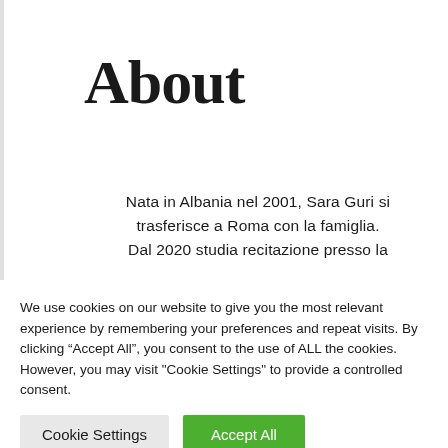About
Nata in Albania nel 2001, Sara Guri si trasferisce a Roma con la famiglia. Dal 2020 studia recitazione presso la
We use cookies on our website to give you the most relevant experience by remembering your preferences and repeat visits. By clicking “Accept All”, you consent to the use of ALL the cookies. However, you may visit "Cookie Settings" to provide a controlled consent.